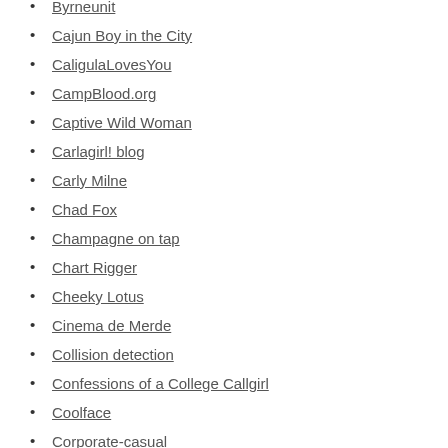Byrneunit
Cajun Boy in the City
CaligulaLovesYou
CampBlood.org
Captive Wild Woman
Carlagirl! blog
Carly Milne
Chad Fox
Champagne on tap
Chart Rigger
Cheeky Lotus
Cinema de Merde
Collision detection
Confessions of a College Callgirl
Coolface
Corporate-casual
Craplicious